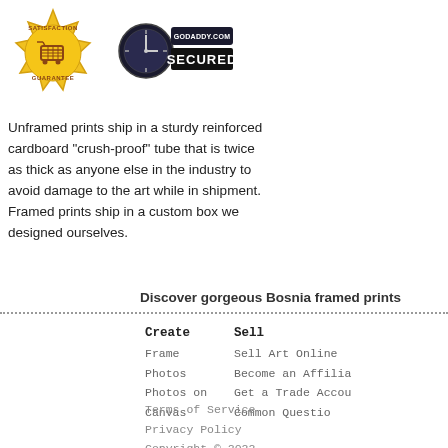[Figure (logo): Satisfaction Guarantee gold badge with shopping cart icon]
[Figure (logo): GoDaddy.com Secured badge with globe/clock icon]
Unframed prints ship in a sturdy reinforced cardboard "crush-proof" tube that is twice as thick as anyone else in the industry to avoid damage to the art while in shipment. Framed prints ship in a custom box we designed ourselves.
Discover gorgeous Bosnia framed prints
Create
Frame Photos
Photos on Canvas
Sell
Sell Art Online
Become an Affilia
Get a Trade Accou
Common Questio
Terms of Service
Privacy Policy
Copyright © 2022